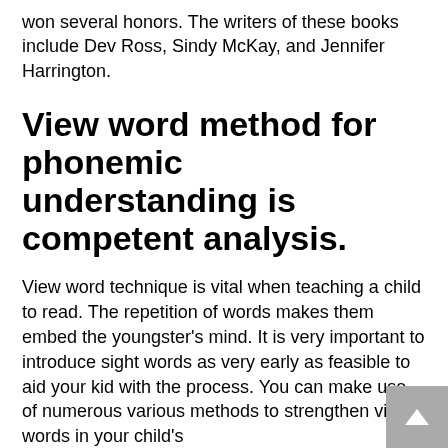won several honors. The writers of these books include Dev Ross, Sindy McKay, and Jennifer Harrington.
View word method for phonemic understanding is competent analysis.
View word technique is vital when teaching a child to read. The repetition of words makes them embed the youngster's mind. It is very important to introduce sight words as very early as feasible to aid your kid with the process. You can make use of numerous various methods to strengthen view words in your child's